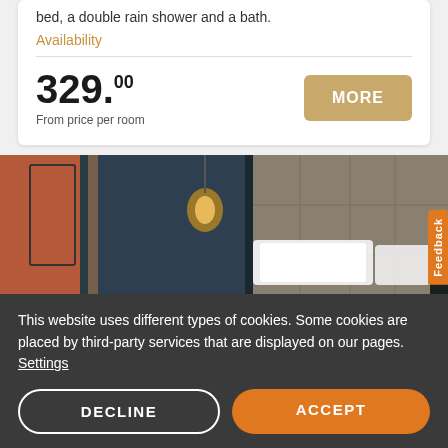bed, a double rain shower and a bath.
Availability
329.00
From price per room
[Figure (photo): Hotel room photo showing pendant lamp, blue-grey wall panels, and a bed with white pillows against a textured headboard wall]
Feedback
This website uses different types of cookies. Some cookies are placed by third-party services that are displayed on our pages. Settings
DECLINE
ACCEPT